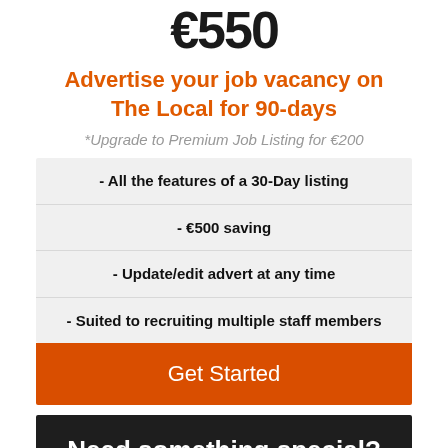€550
Advertise your job vacancy on The Local for 90-days
*Upgrade to Premium Job Listing for €200
- All the features of a 30-Day listing
- €500 saving
- Update/edit advert at any time
- Suited to recruiting multiple staff members
Get Started
Need something special?